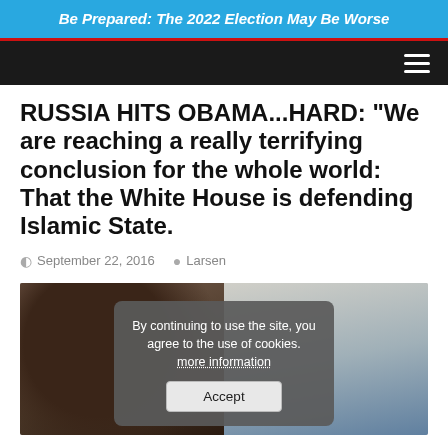Be Prepared: The 2022 Election May Be Worse
RUSSIA HITS OBAMA...HARD: “We are reaching a really terrifying conclusion for the whole world: That the White House is defending Islamic State.
September 22, 2016   Larsen
[Figure (photo): Photo of a man's face on the left, group of people on the right, with a cookie consent popup overlay in the center reading 'By continuing to use the site, you agree to the use of cookies. more information' and an Accept button.]